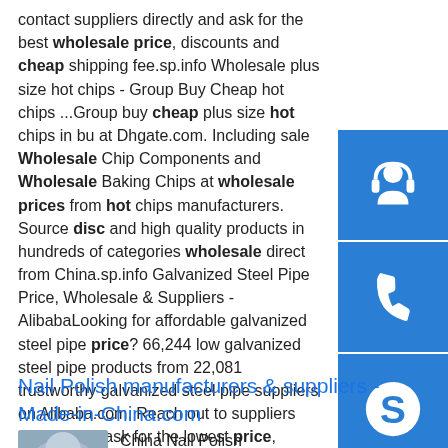contact suppliers directly and ask for the best wholesale price, discounts and cheap shipping fee.sp.info Wholesale plus size hot chips - Group Buy Cheap hot chips ...Group buy cheap plus size hot chips in bulk at Dhgate.com. Including sale Wholesale Chip Components and Wholesale Baking Chips at wholesale prices from hot chips manufacturers. Source disc and high quality products in hundreds of categories wholesale direct from China.sp.info Galvanized Steel Pipe Price, Wholesale & Suppliers - AlibabaLooking for affordable galvanized steel pipe price? 66,244 low galvanized steel pipe products from 22,081 trustworthy galvanized steel pipe suppliers on Alibaba.com. Reach out to suppliers directly and ask for the lowest price, discount, and small shipping fees.
[Figure (other): Blue sidebar with three icon buttons: headset/customer service icon, phone icon, Skype icon]
Nail Polish manufacturers & suppliers - Made-in-China.com
[Figure (photo): China Nail Polish product image thumbnail]